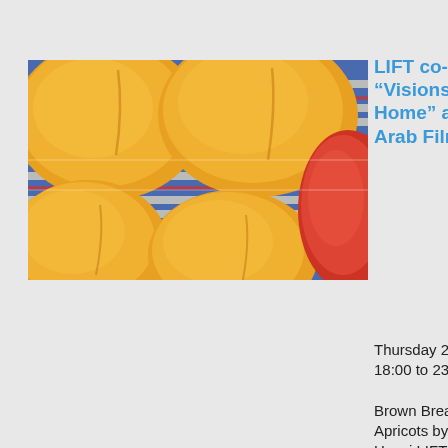[Figure (photo): Close-up photo of yellow-orange apricots on a colorful striped woven mat/cloth, with a red fruit partially visible at right edge.]
LIFT co-presents “Visions of Home” at Toronto Arab Film
Thursday 26 May 2022, 18:00 to 23:00
Brown Bread and Apricots by Serene Husni LIFT co-presents “Visions of Home” Shorts Programme